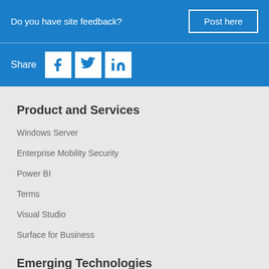Do you have site feedback?
Post here
Share
[Figure (other): Facebook, Twitter, LinkedIn social share icons]
Product and Services
Windows Server
Enterprise Mobility Security
Power BI
Terms
Visual Studio
Surface for Business
Emerging Technologies